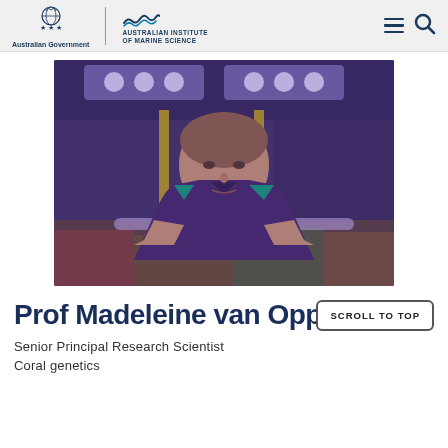Australian Government | Australian Institute of Marine Science
[Figure (photo): A woman in a dark purple polo shirt with teal stripes, leaning over what appears to be a coral tank in a marine science laboratory, with overhead grow lights illuminating the scene.]
Prof Madeleine van Oppen
Senior Principal Research Scientist
Coral genetics